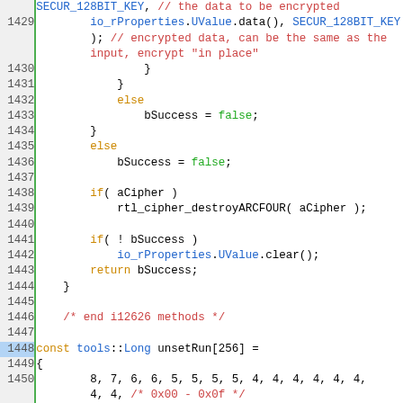Source code listing, lines 1429-1454, showing C++ encryption/cipher code with const array unsetRun[256]